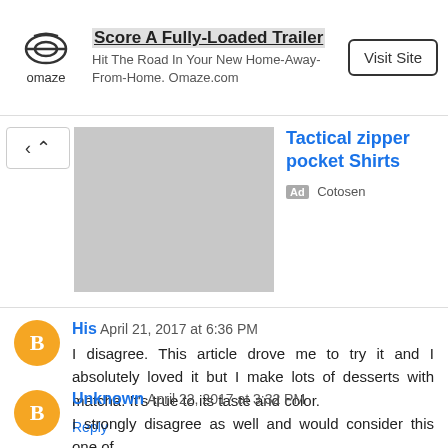[Figure (other): Omaze advertisement banner with logo, headline 'Score A Fully-Loaded Trailer', subtext 'Hit The Road In Your New Home-Away-From-Home. Omaze.com', and a 'Visit Site' button]
[Figure (other): Advertisement for 'Tactical zipper pocket Shirts' by Cotosen, showing a gray placeholder image and 'Ad Cotosen' label]
His April 21, 2017 at 6:36 PM
I disagree. This article drove me to try it and I absolutely loved it but I make lots of desserts with matcha. It's true to its taste and color.
Reply
Unknown April 22, 2017 at 3:32 PM
I strongly disagree as well and would consider this one of